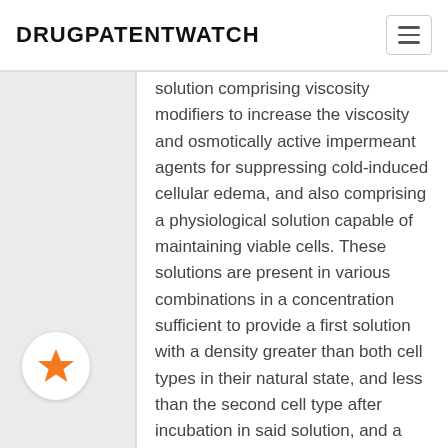DRUGPATENTWATCH
solution comprising viscosity modifiers to increase the viscosity and osmotically active impermeant agents for suppressing cold-induced cellular edema, and also comprising a physiological solution capable of maintaining viable cells. These solutions are present in various combinations in a concentration sufficient to provide a first solution with a density greater than both cell types in their natural state, and less than the second cell type after incubation in said solution, and a second